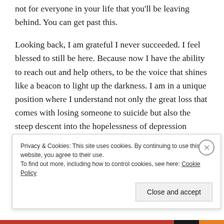not for everyone in your life that you'll be leaving behind. You can get past this.
Looking back, I am grateful I never succeeded. I feel blessed to still be here. Because now I have the ability to reach out and help others, to be the voice that shines like a beacon to light up the darkness. I am in a unique position where I understand not only the great loss that comes with losing someone to suicide but also the steep descent into the hopelessness of depression myself. Suffering in silence for years almost killed me multiple times. I can only hope that by finally speaking up,
Privacy & Cookies: This site uses cookies. By continuing to use this website, you agree to their use.
To find out more, including how to control cookies, see here: Cookie Policy
Close and accept